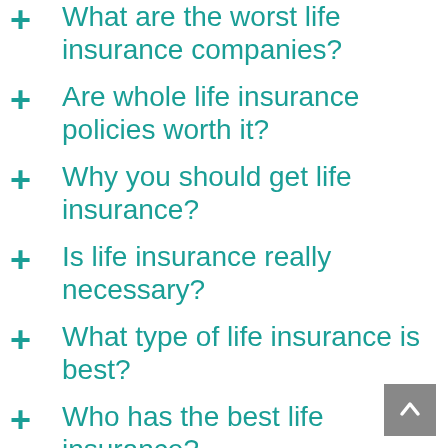What are the worst life insurance companies?
Are whole life insurance policies worth it?
Why you should get life insurance?
Is life insurance really necessary?
What type of life insurance is best?
Who has the best life insurance?
How long should a person